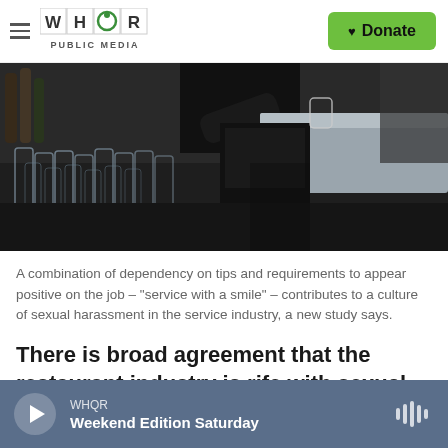WHQR PUBLIC MEDIA | Donate
[Figure (photo): Bar scene with glasses and bartender in background, dark moody lighting]
A combination of dependency on tips and requirements to appear positive on the job – "service with a smile" – contributes to a culture of sexual harassment in the service industry, a new study says.
There is broad agreement that the restaurant industry is rife with sexual harassment.
WHQR Weekend Edition Saturday